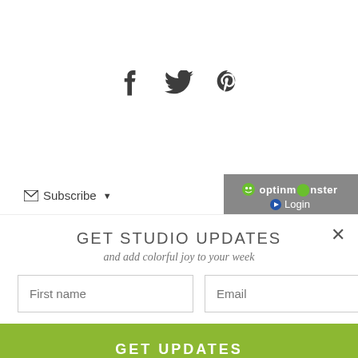[Figure (other): Social media icons: Facebook, Twitter, Pinterest in dark gray]
Subscribe ▾
[Figure (logo): OptinMonster logo with Login button in gray bar]
GET STUDIO UPDATES
and add colorful joy to your week
First name  Email
GET UPDATES